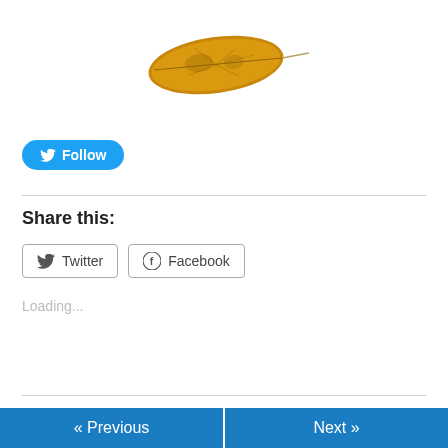[Figure (illustration): An autumn yellow-orange leaf on a white background, pointing right with a stem.]
[Figure (other): Twitter Follow button — blue rounded pill button with Twitter bird icon and 'Follow' text in white.]
Share this:
[Figure (other): Twitter share button with bird icon and 'Twitter' label, and Facebook share button with f icon and 'Facebook' label.]
Loading...
November 2, 2018
« Previous   Next »